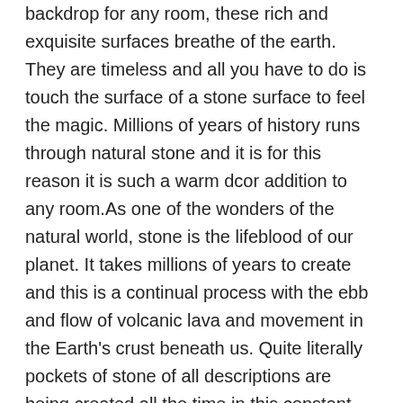backdrop for any room, these rich and exquisite surfaces breathe of the earth. They are timeless and all you have to do is touch the surface of a stone surface to feel the magic. Millions of years of history runs through natural stone and it is for this reason it is such a warm dcor addition to any room.As one of the wonders of the natural world, stone is the lifeblood of our planet. It takes millions of years to create and this is a continual process with the ebb and flow of volcanic lava and movement in the Earth's crust beneath us. Quite literally pockets of stone of all descriptions are being created all the time in this constant activity. Once pressurized and pushed through the earths crust in tectonic movement, we find onyx, travertine, granite, slate, limestone, sandstone, marble and many others.Where this stone erupts to the surface of the earth, natural quarries are formed and these natural quarries have been the source of materials for the building of thousands of buildings over the millennia. The last remaining of the 7 Wonders of the Ancient World, the Great Pyramid of Gaza still stands and this was created from natural stone. In